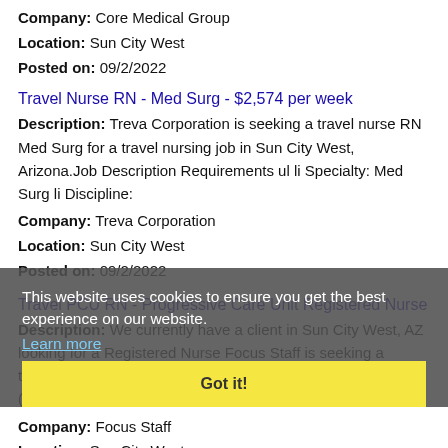Company: Core Medical Group
Location: Sun City West
Posted on: 09/2/2022
Travel Nurse RN - Med Surg - $2,574 per week
Description: Treva Corporation is seeking a travel nurse RN Med Surg for a travel nursing job in Sun City West, Arizona.Job Description Requirements ul li Specialty: Med Surg li Discipline:
Company: Treva Corporation
Location: Sun City West
Posted on: 09/2/2022
Travel PCU RN - Progressive Care Unit Registered Nurse
Description: We currently have a client in Sun City West, AZ looking for a Registered Nurse Focus Staff is seeking a traveling Progressive Care Unit PCU RN provide advanced (more...)
Company: Focus Staff
Location: Sun City West
Posted on: 09/2/2022
This website uses cookies to ensure you get the best experience on our website.
Learn more
Got it!
Salary in Goodyear, Arizona Area | More details for Goodyear, Arizona Jobs |Salary